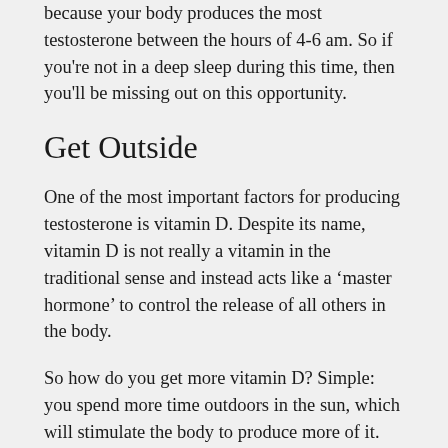because your body produces the most testosterone between the hours of 4-6 am. So if you're not in a deep sleep during this time, then you'll be missing out on this opportunity.
Get Outside
One of the most important factors for producing testosterone is vitamin D. Despite its name, vitamin D is not really a vitamin in the traditional sense and instead acts like a ‘master hormone’ to control the release of all others in the body.
So how do you get more vitamin D? Simple: you spend more time outdoors in the sun, which will stimulate the body to produce more of it.